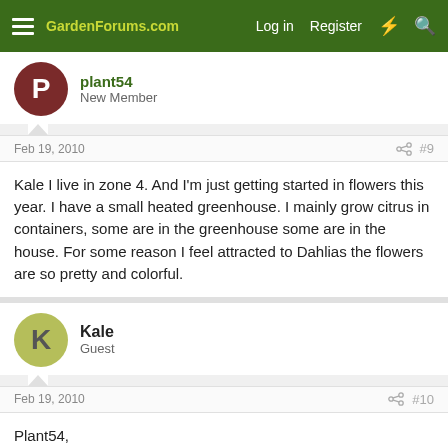GardenForums.com — Log in  Register
plant54
New Member
Feb 19, 2010  #9
Kale I live in zone 4. And I'm just getting started in flowers this year. I have a small heated greenhouse. I mainly grow citrus in containers, some are in the greenhouse some are in the house. For some reason I feel attracted to Dahlias the flowers are so pretty and colorful.
Kale
Guest
Feb 19, 2010  #10
Plant54,
Some seed of any kind (veggie, fruit, annual etc.... ) germinate readily, some do not, they all have their "personality".